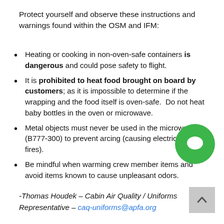Protect yourself and observe these instructions and warnings found within the OSM and IFM:
Heating or cooking in non-oven-safe containers is dangerous and could pose safety to flight.
It is prohibited to heat food brought on board by customers; as it is impossible to determine if the wrapping and the food itself is oven-safe. Do not heat baby bottles in the oven or microwave.
Metal objects must never be used in the microwave (B777-300) to prevent arcing (causing electrical circuit fires).
Be mindful when warming crew member items and avoid items known to cause unpleasant odors.
-Thomas Houdek – Cabin Air Quality / Uniforms Representative – caq-uniforms@apfa.org